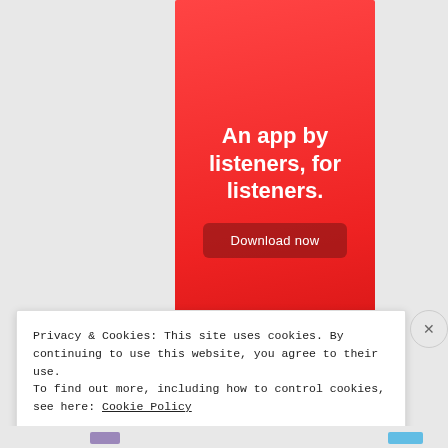[Figure (illustration): Red advertisement banner for a listener app with headline 'An app by listeners, for listeners.' and a 'Download now' button]
Privacy & Cookies: This site uses cookies. By continuing to use this website, you agree to their use.
To find out more, including how to control cookies, see here: Cookie Policy
Close and accept